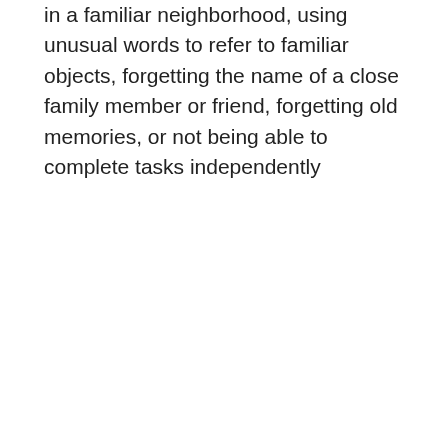in a familiar neighborhood, using unusual words to refer to familiar objects, forgetting the name of a close family member or friend, forgetting old memories, or not being able to complete tasks independently